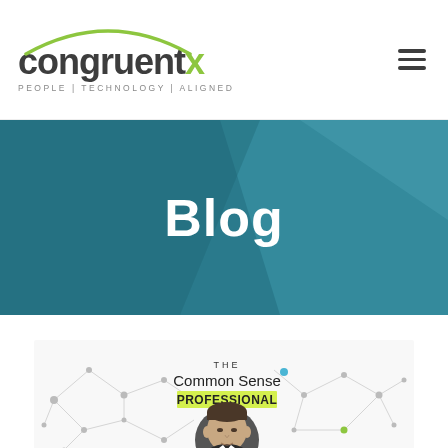[Figure (logo): CongruentX logo with green arc and tagline PEOPLE | TECHNOLOGY | ALIGNED]
Blog
[Figure (illustration): Blog post thumbnail showing 'THE Common Sense PROFESSIONAL' text with a network diagram background and a man's headshot photo]